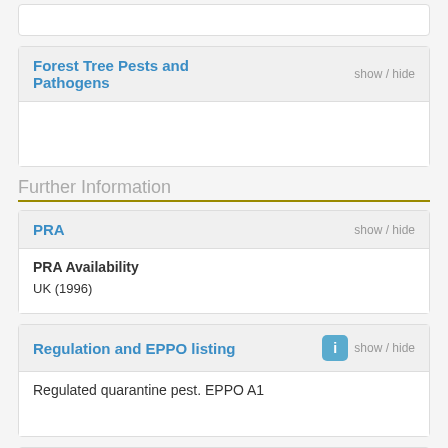Forest Tree Pests and Pathogens
Further Information
PRA
PRA Availability
UK (1996)
Regulation and EPPO listing
Regulated quarantine pest. EPPO A1